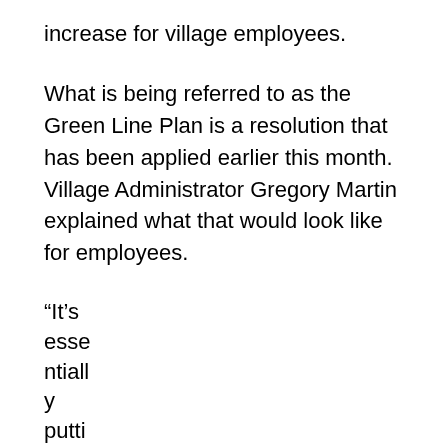increase for village employees.
What is being referred to as the Green Line Plan is a resolution that has been applied earlier this month. Village Administrator Gregory Martin explained what that would look like for employees.
“It’s esse ntiall y putti ng all empl